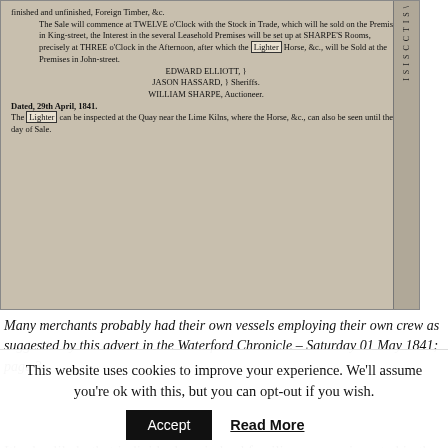[Figure (photo): Scanned newspaper clipping from the Waterford Chronicle showing a sale notice for a Lighter, Horse and other goods, signed by Edward Elliott, Jason Hassard (Sheriffs) and William Sharpe (Auctioneer), dated 29th April, 1841.]
Many merchants probably had their own vessels employing their own crew as suggested by this advert in the Waterford Chronicle – Saturday 01 May 1841; page 3
It's also likely that individuals or indeed families or crew invested in the trade. For example, there was a report in
This website uses cookies to improve your experience. We'll assume you're ok with this, but you can opt-out if you wish.